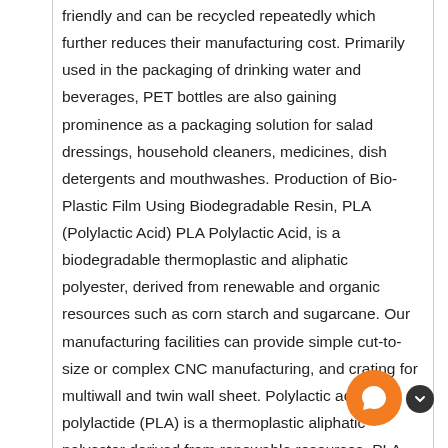friendly and can be recycled repeatedly which further reduces their manufacturing cost. Primarily used in the packaging of drinking water and beverages, PET bottles are also gaining prominence as a packaging solution for salad dressings, household cleaners, medicines, dish detergents and mouthwashes. Production of Bio-Plastic Film Using Biodegradable Resin, PLA (Polylactic Acid) PLA Polylactic Acid, is a biodegradable thermoplastic and aliphatic polyester, derived from renewable and organic resources such as corn starch and sugarcane. Our manufacturing facilities can provide simple cut-to-size or complex CNC manufacturing, and crating for multiwall and twin wall sheet. Polylactic acid or polylactide (PLA) is a thermoplastic aliphatic polyester derived from renewable resources. PLA had the second highest consumption volume of any bioplastic of the world, Although Bio-plastic is a biodegradable material that come from renewable sources can be used to reduce the problem of plastic waste that is suffocating